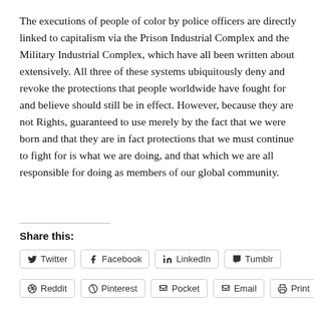The executions of people of color by police officers are directly linked to capitalism via the Prison Industrial Complex and the Military Industrial Complex, which have all been written about extensively. All three of these systems ubiquitously deny and revoke the protections that people worldwide have fought for and believe should still be in effect. However, because they are not Rights, guaranteed to use merely by the fact that we were born and that they are in fact protections that we must continue to fight for is what we are doing, and that which we are all responsible for doing as members of our global community.
Share this:
Twitter
Facebook
LinkedIn
Tumblr
Reddit
Pinterest
Pocket
Email
Print